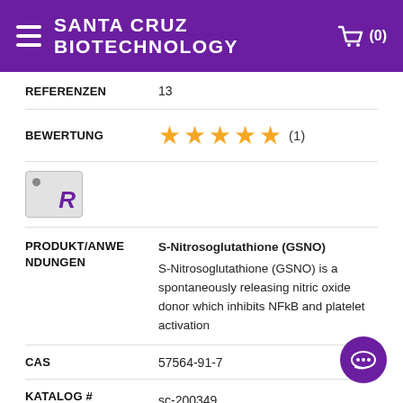SANTA CRUZ BIOTECHNOLOGY
REFERENZEN	13
BEWERTUNG	★★★★★ (1)
[Figure (logo): Registered trademark icon box with R letter and small dot]
PRODUKT/ANWENDUNGEN	S-Nitrosoglutathione (GSNO)
S-Nitrosoglutathione (GSNO) is a spontaneously releasing nitric oxide donor which inhibits NFkB and platelet activation
CAS	57564-91-7
KATALOG #	sc-200349
sc-200349B
sc-200349A